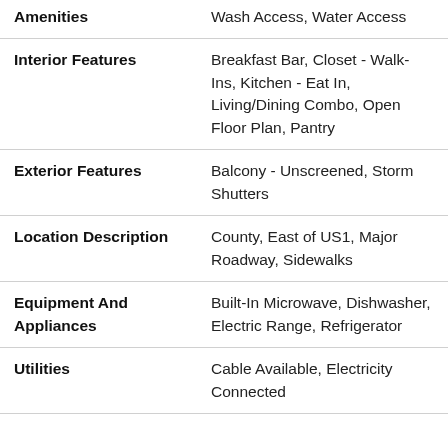| Feature | Value |
| --- | --- |
| Amenities | Wash Access, Water Access |
| Interior Features | Breakfast Bar, Closet - Walk-Ins, Kitchen - Eat In, Living/Dining Combo, Open Floor Plan, Pantry |
| Exterior Features | Balcony - Unscreened, Storm Shutters |
| Location Description | County, East of US1, Major Roadway, Sidewalks |
| Equipment And Appliances | Built-In Microwave, Dishwasher, Electric Range, Refrigerator |
| Utilities | Cable Available, Electricity Connected |